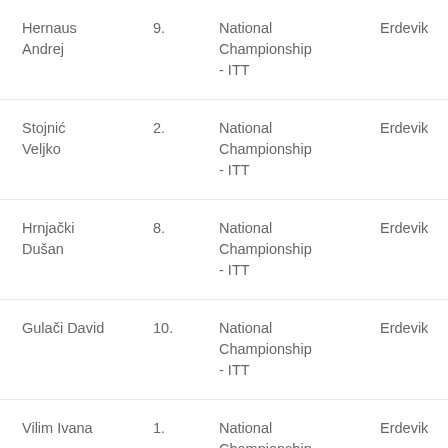| Hernaus Andrej | 9. | National Championship - ITT | Erdevik | S |
| Stojnić Veljko | 2. | National Championship - ITT | Erdevik | S |
| Hrnjački Dušan | 8. | National Championship - ITT | Erdevik | S |
| Gulači David | 10. | National Championship - ITT | Erdevik | S |
| Vilim Ivana | 1. | National Championship - ITT | Erdevik | S |